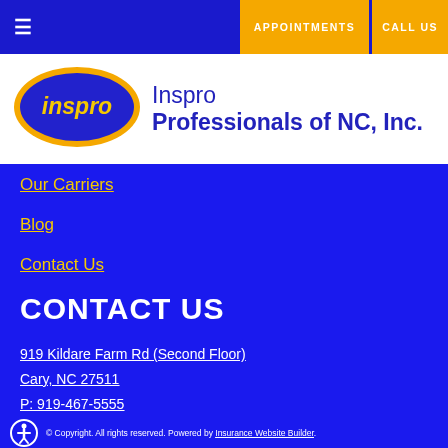☰  APPOINTMENTS  CALL US
[Figure (logo): Inspro oval logo in blue and yellow with italic 'inspro' text]
Inspro Professionals of NC, Inc.
Our Carriers
Blog
Contact Us
CONTACT US
919 Kildare Farm Rd (Second Floor)
Cary, NC 27511
P: 919-467-5555
Licensed In NC, SC, VA, TN, GN, FL, & NJ
© Copyright. All rights reserved. Powered by Insurance Website Builder.